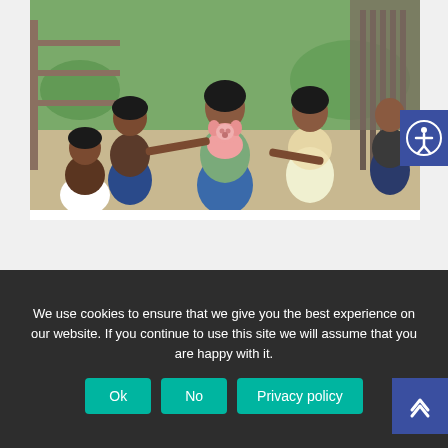[Figure (photo): Children gathered around a young girl holding a piglet at what appears to be a farm or animal pen. Multiple children are reaching out to touch the piglet. Background shows fencing and farm structures.]
LATEST STORIES
We use cookies to ensure that we give you the best experience on our website. If you continue to use this site we will assume that you are happy with it.
Ok
No
Privacy policy